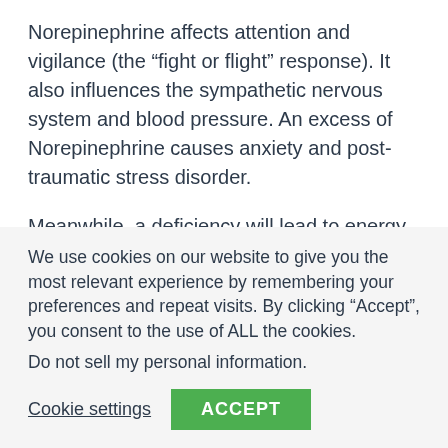Norepinephrine affects attention and vigilance (the “fight or flight” response). It also influences the sympathetic nervous system and blood pressure. An excess of Norepinephrine causes anxiety and post-traumatic stress disorder.
Meanwhile, a deficiency will lead to energy loss, dizzy spells, and the loss of the ability to sweat. To get back into balance, the supplementation suggestions are similar to dopamine. However, folate, SAMe, arginine, and the amino acid theanine, contained in green tea, should be taken as well.
We use cookies on our website to give you the most relevant experience by remembering your preferences and repeat visits. By clicking “Accept”, you consent to the use of ALL the cookies.
Do not sell my personal information.
Cookie settings
ACCEPT